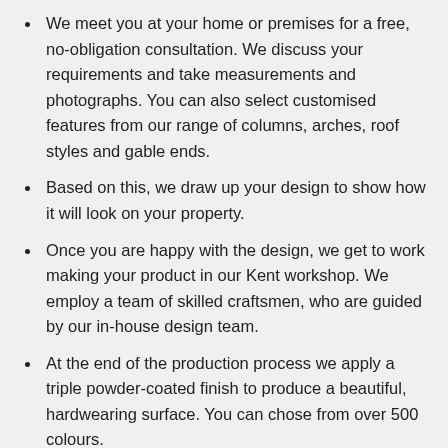We meet you at your home or premises for a free, no-obligation consultation. We discuss your requirements and take measurements and photographs. You can also select customised features from our range of columns, arches, roof styles and gable ends.
Based on this, we draw up your design to show how it will look on your property.
Once you are happy with the design, we get to work making your product in our Kent workshop. We employ a team of skilled craftsmen, who are guided by our in-house design team.
At the end of the production process we apply a triple powder-coated finish to produce a beautiful, hardwearing surface. You can chose from over 500 colours.
When it's ready, our installation team come to your property and put everything together for you.